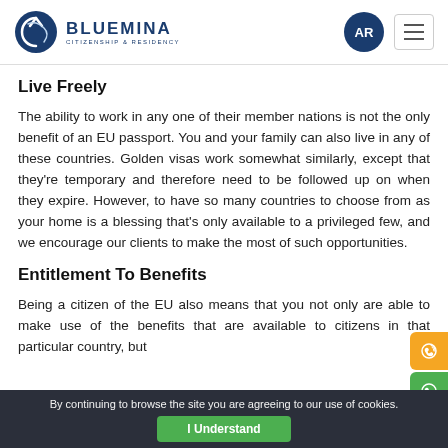[Figure (logo): Bluemina Citizenship & Residency logo with circular arrow icon, AR language badge, and hamburger menu]
Live Freely
The ability to work in any one of their member nations is not the only benefit of an EU passport. You and your family can also live in any of these countries. Golden visas work somewhat similarly, except that they're temporary and therefore need to be followed up on when they expire. However, to have so many countries to choose from as your home is a blessing that's only available to a privileged few, and we encourage our clients to make the most of such opportunities.
Entitlement To Benefits
Being a citizen of the EU also means that you not only are able to make use of the benefits that are available to citizens in that particular country, but
By continuing to browse the site you are agreeing to our use of cookies.